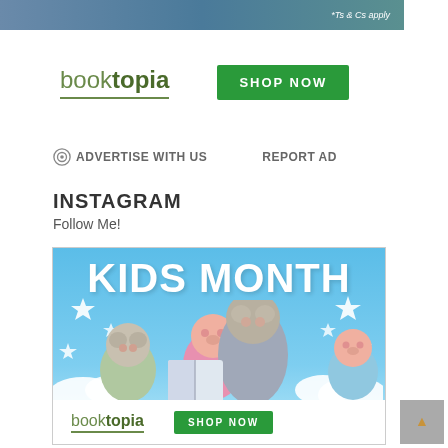[Figure (screenshot): Top advertisement banner with landscape background and text '*Ts & Cs apply']
[Figure (logo): Booktopia advertisement with logo and 'SHOP NOW' green button]
ADVERTISE WITH US   REPORT AD
INSTAGRAM
Follow Me!
[Figure (illustration): Booktopia Kids Month advertisement banner with cartoon bear characters reading a book and 'SHOP NOW' green button on blue background]